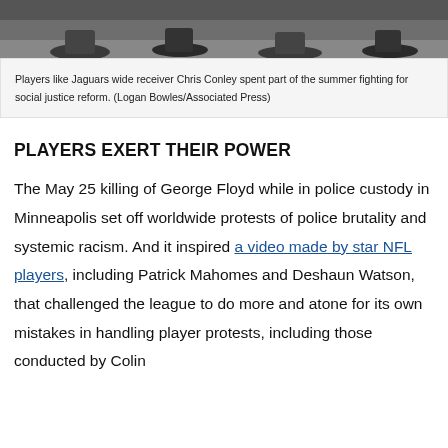[Figure (photo): Cropped bottom portion of a photo showing people's feet and legs, likely players at a protest or social justice event.]
Players like Jaguars wide receiver Chris Conley spent part of the summer fighting for social justice reform. (Logan Bowles/Associated Press)
PLAYERS EXERT THEIR POWER
The May 25 killing of George Floyd while in police custody in Minneapolis set off worldwide protests of police brutality and systemic racism. And it inspired a video made by star NFL players, including Patrick Mahomes and Deshaun Watson, that challenged the league to do more and atone for its own mistakes in handling player protests, including those conducted by Colin